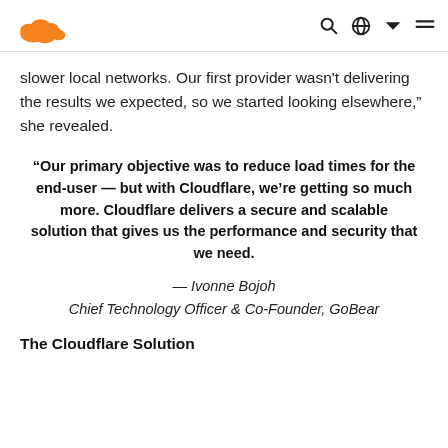Cloudflare logo, search, globe, menu navigation
slower local networks. Our first provider wasn't delivering the results we expected, so we started looking elsewhere," she revealed.
“Our primary objective was to reduce load times for the end-user — but with Cloudflare, we’re getting so much more. Cloudflare delivers a secure and scalable solution that gives us the performance and security that we need.
— Ivonne Bojoh
Chief Technology Officer & Co-Founder, GoBear
The Cloudflare Solution